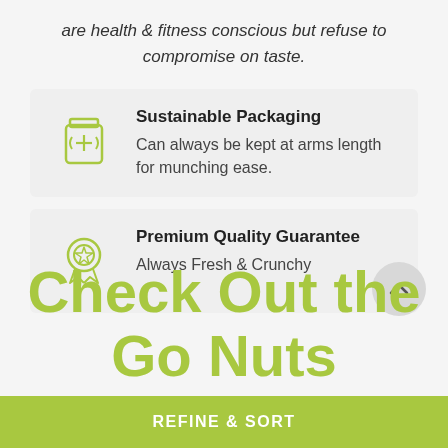are health & fitness conscious but refuse to compromise on taste.
Sustainable Packaging – Can always be kept at arms length for munching ease.
Premium Quality Guarantee – Always Fresh & Crunchy
Check Out the Go Nuts Collectio…
REFINE & SORT